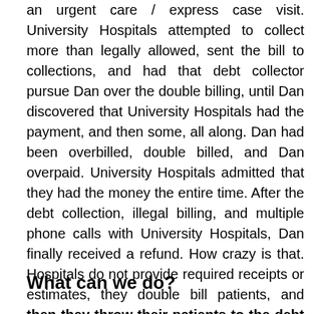an urgent care / express case visit. University Hospitals attempted to collect more than legally allowed, sent the bill to collections, and had that debt collector pursue Dan over the double billing, until Dan discovered that University Hospitals had the payment, and then some, all along. Dan had been overbilled, double billed, and Dan overpaid. University Hospitals admitted that they had the money the entire time. After the debt collection, illegal billing, and multiple phone calls with University Hospitals, Dan finally received a refund. How crazy is that. Hospitals do not provide required receipts or estimates, they double bill patients, and then they throw their patients to the debt collectors when they actually owe the patient a refund!
What can we do?